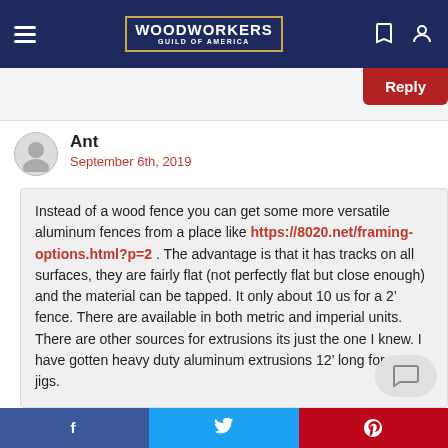[Figure (logo): Woodworkers Guild of America logo in navy blue header bar with hamburger menu and icons]
Reply
Ant
September 6th, 2019
Instead of a wood fence you can get some more versatile aluminum fences from a place like https://8020.net/framing-options.html?p=2 . The advantage is that it has tracks on all surfaces, they are fairly flat (not perfectly flat but close enough) and the material can be tapped. It only about 10 us for a 2’ fence. There are available in both metric and imperial units. There are other sources for extrusions its just the one I knew. I have gotten heavy duty aluminum extrusions 12’ long for my jigs.